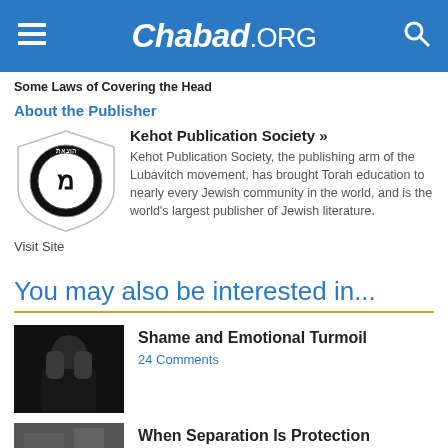Chabad.ORG
Some Laws of Covering the Head
About the Publisher
[Figure (logo): Kehot Publication Society shield/badge logo in black and white]
Kehot Publication Society »
Kehot Publication Society, the publishing arm of the Lubavitch movement, has brought Torah education to nearly every Jewish community in the world, and is the world's largest publisher of Jewish literature.
Visit Site
You may also be interested in...
[Figure (photo): Person covering their face with their hands, dark background]
Shame and Emotional Turmoil
24 Comments
[Figure (photo): Dark textured image, partly visible]
When Separation Is Protection
28 Comments